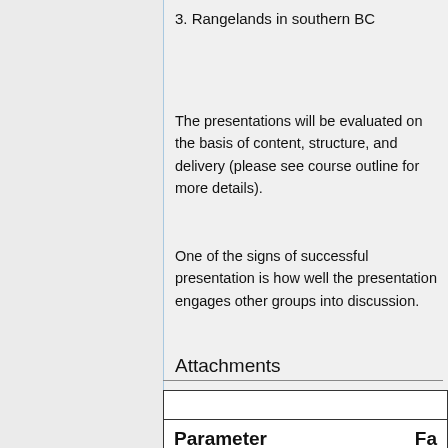3. Rangelands in southern BC
The presentations will be evaluated on the basis of content, structure, and delivery (please see course outline for more details).
One of the signs of successful presentation is how well the presentation engages other groups into discussion.
Attachments
| Parameter | Fa… |
| --- | --- |
|  | 0 AUM |